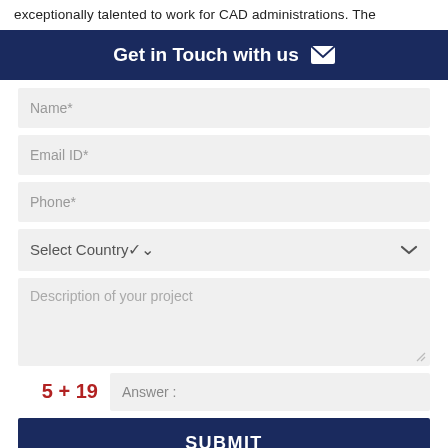exceptionally talented to work for CAD administrations. The
Get in Touch with us ✉
[Figure (other): Web contact form with fields: Name*, Email ID*, Phone*, Select Country dropdown, Description of your project textarea, a CAPTCHA math challenge (5 + 19 = Answer), and a SUBMIT button]